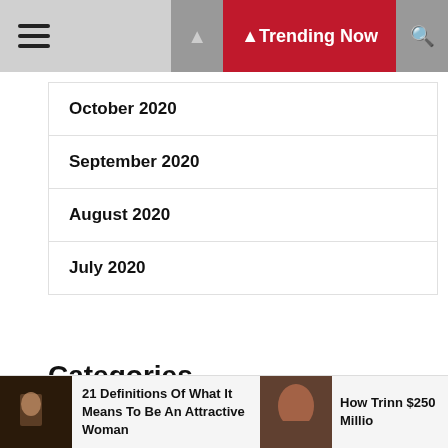Trending Now
October 2020
September 2020
August 2020
July 2020
Categories
Adventure
21 Definitions Of What It Means To Be An Attractive Woman
How Trinn $250 Millio